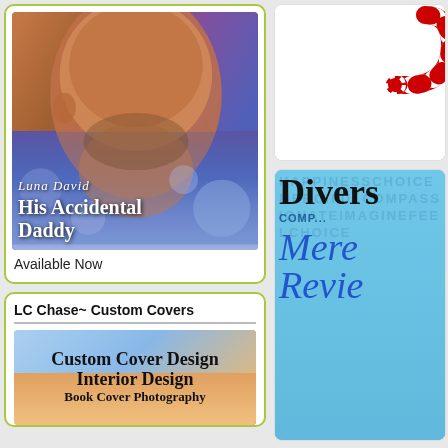[Figure (photo): Book cover for 'His Accidental Daddy' by Luna David, showing close-up of man's face with purple/blue bokeh background]
Available Now
LC Chase~ Custom Covers
[Figure (illustration): Custom cover design advertisement showing 'Custom Cover Design Interior Design' text on a warm gradient background]
[Figure (illustration): Top right card with candy cane image on white background]
[Figure (illustration): Blue card showing 'Divers' and 'Mere Revie' text in large decorative font on blue background with word collage]